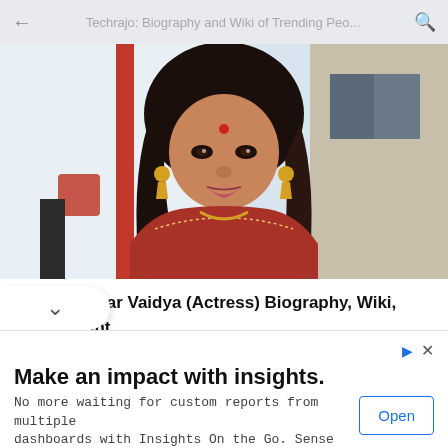Techrajo: Biography and Wiki of Trending Peo...
[Figure (photo): Portrait of Pallavi Kedar Vaidya, an Indian actress, wearing a red/maroon saree with gold jewelry and a bindi, smiling, standing in front of a building exterior]
Pallavi Kedar Vaidya (Actress) Biography, Wiki, Age, Height, Career, Family, Awards and Many More
Make an impact with insights.
No more waiting for custom reports from multiple dashboards with Insights On the Go. Sense Forth
Open